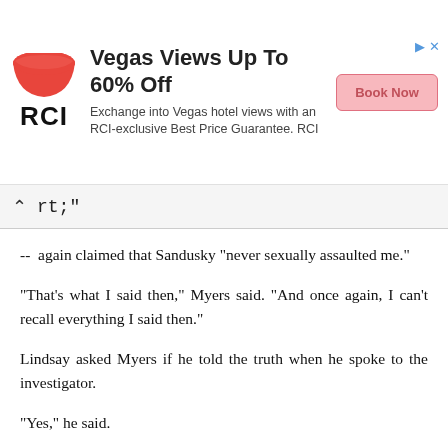[Figure (other): RCI advertisement banner: Vegas Views Up To 60% Off. Exchange into Vegas hotel views with an RCI-exclusive Best Price Guarantee. RCI logo with red bowl shape. Pink 'Book Now' button.]
rt;"
-- again claimed that Sandusky "never sexually assaulted me."
"That's what I said then," Myers said. "And once again, I can't recall everything I said then."
Lindsay asked Myers if he told the truth when he spoke to the investigator.
"Yes," he said.
Allan Myers had once been Jerry Sandusky's biggest defender. He even wrote a letter to the editor of a local newspaper stating what a great guy Jerry was.